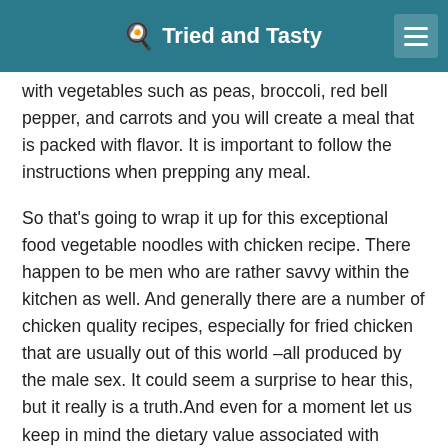🍳 Tried and Tasty
with vegetables such as peas, broccoli, red bell pepper, and carrots and you will create a meal that is packed with flavor. It is important to follow the instructions when prepping any meal.
So that's going to wrap it up for this exceptional food vegetable noodles with chicken recipe. There happen to be men who are rather savvy within the kitchen as well. And generally there are a number of chicken quality recipes, especially for fried chicken that are usually out of this world –all produced by the male sex. It could seem a surprise to hear this, but it really is a truth.And even for a moment let us keep in mind the dietary value associated with chicken. It is high in healthy proteins, low in fat, and absolutely no carbs when skinless. You may turn out to be surprised to learn that it is usually a rich source of